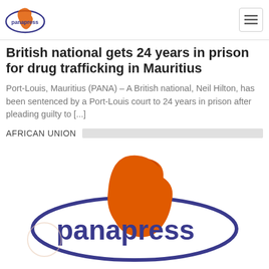panapress
British national gets 24 years in prison for drug trafficking in Mauritius
Port-Louis, Mauritius (PANA) – A British national, Neil Hilton, has been sentenced by a Port-Louis court to 24 years in prison after pleading guilty to [...]
AFRICAN UNION
[Figure (logo): Panapress logo with orange Africa map silhouette and blue oval with 'panapress' text]